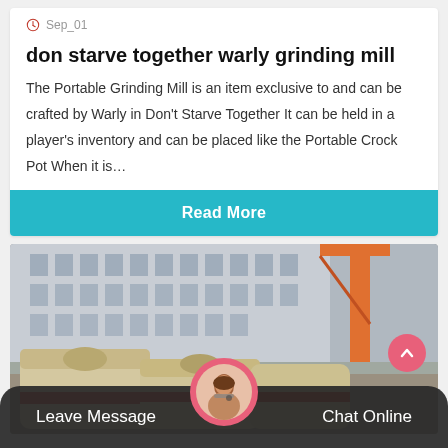Sep_01
don starve together warly grinding mill
The Portable Grinding Mill is an item exclusive to and can be crafted by Warly in Don't Starve Together It can be held in a player's inventory and can be placed like the Portable Crock Pot When it is…
Read More
[Figure (photo): Industrial grinding mill machines outdoors with a building and construction crane in the background]
Leave Message   Chat Online